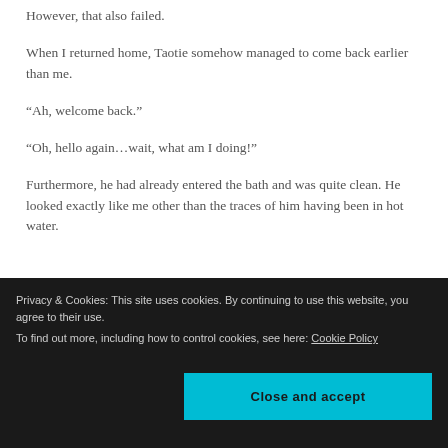However, that also failed.
When I returned home, Taotie somehow managed to come back earlier than me.
“Ah, welcome back.”
“Oh, hello again…wait, what am I doing!”
Furthermore, he had already entered the bath and was quite clean. He looked exactly like me other than the traces of him having been in hot water.
Privacy & Cookies: This site uses cookies. By continuing to use this website, you agree to their use. To find out more, including how to control cookies, see here: Cookie Policy
would cause various problems.”